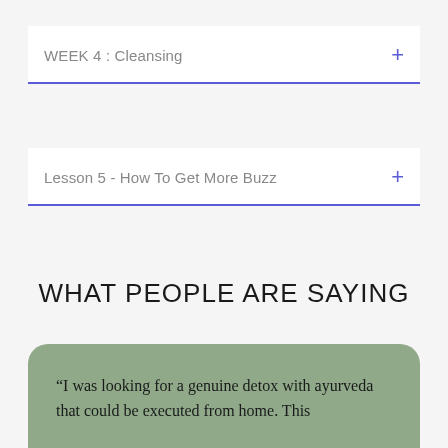WEEK 4 : Cleansing
Lesson 5 - How To Get More Buzz
WHAT PEOPLE ARE SAYING
“I was looking for a genuine detox with ayurveda that could be executed from home. This